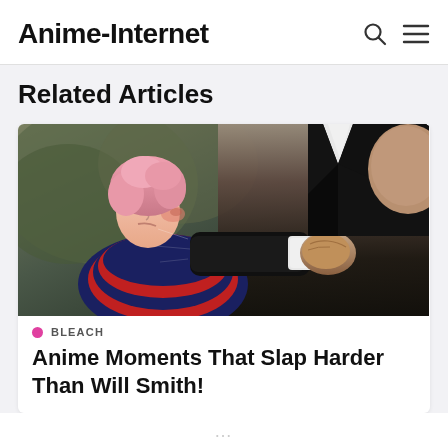Anime-Internet
Related Articles
[Figure (photo): Composite image showing an anime character (pink-haired, wearing a red and navy scarf, with a bruised face appearing to be hit) on the left side merged with a real-life photo of a man in a black suit throwing a punch on the right side.]
BLEACH
Anime Moments That Slap Harder Than Will Smith!